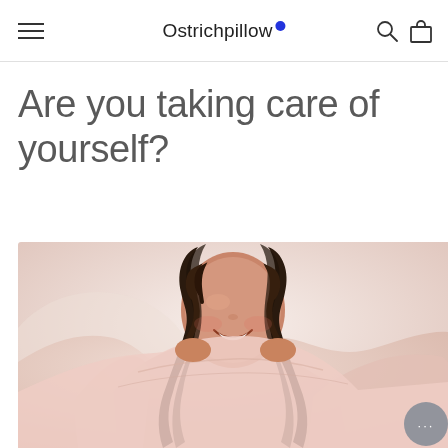Ostrichpillow
Are you taking care of yourself?
[Figure (photo): A smiling woman with curly dark hair wrapped in a soft pale pink blanket or duvet, photographed from close up against a light background.]